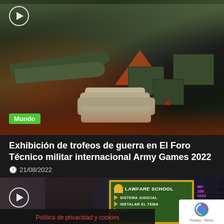[Figure (photo): Military hardware exhibition photo showing weapons, missiles, and equipment on display at Army Games 2022. A green 'Mundo' tag is visible in the lower left of the image. A play button icon is in the upper left corner.]
Exhibición de trofeos de guerra en El Foro Técnico militar internacional Army Games 2022
21/08/2022
[Figure (screenshot): Video thumbnail showing a man in a jacket in front of a brick wall background, with a chalkboard sign reading 'LAWFARE SCHOOL / SISTEMA JUDICIAL / INSTALAR EL TEMA'. A play button icon is in the upper left. A cookie consent bar reads 'Política de privacidad y cookies' in red. A reCAPTCHA badge is visible in the lower right.]